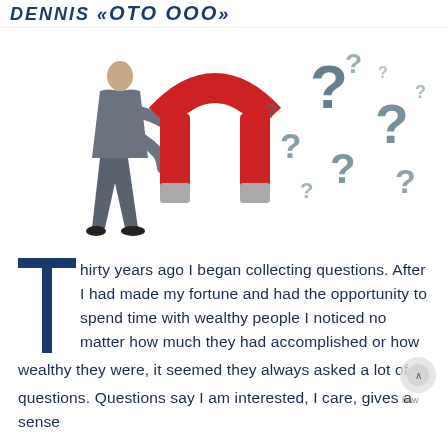DENNIS «OTO OOO»
[Figure (illustration): A businessman in a grey suit holding a large red horseshoe magnet that attracts multiple grey question mark symbols floating in the air against a white background.]
Thirty years ago I began collecting questions. After I had made my fortune and had the opportunity to spend time with wealthy people I noticed no matter how much they had accomplished or how wealthy they were, it seemed they always asked a lot of questions. Questions say I am interested, I care, gives a sense